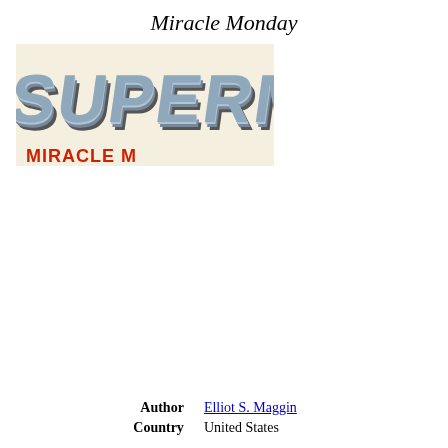Miracle Monday
[Figure (photo): Book cover image showing the word 'SUPERMAN' in large metallic 3D letters on a light beige/cream background, partially cropped, with red text visible at the bottom edge.]
| Author | Elliot S. Maggin |
| Country | United States |